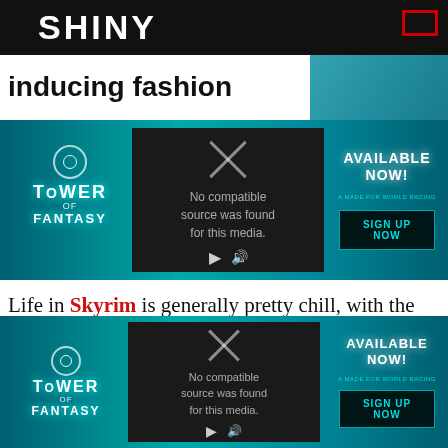inducing fashion
[Figure (screenshot): Tower of Fantasy ad banner with video placeholder saying 'No compatible source was found for this media.' and AVAILABLE NOW! SIGN UP NOW button]
Life in Skyrim is generally pretty chill, with the means to make money never being too far away, especially if you're good at alchemy or know which NPCs carry the most pocket change.
[Figure (screenshot): Second Tower of Fantasy ad banner with video placeholder saying 'No compatible source was found for this media.' and AVAILABLE NOW! SIGN UP NOW button]